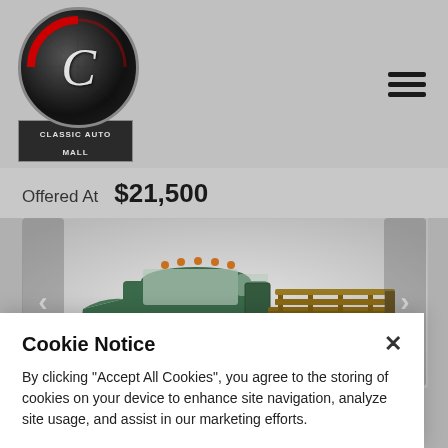[Figure (logo): Classic Auto Mall circular logo with stylized C, red arc decoration, and banner below reading CLASSIC AUTO MALL]
Offered At  $21,500
[Figure (photo): Vintage green Dodge flatbed stake-bed truck photographed against a light grey background, with wooden stake-bed rails, presented as a classic car for sale]
Cookie Notice
By clicking "Accept All Cookies", you agree to the storing of cookies on your device to enhance site navigation, analyze site usage, and assist in our marketing efforts.